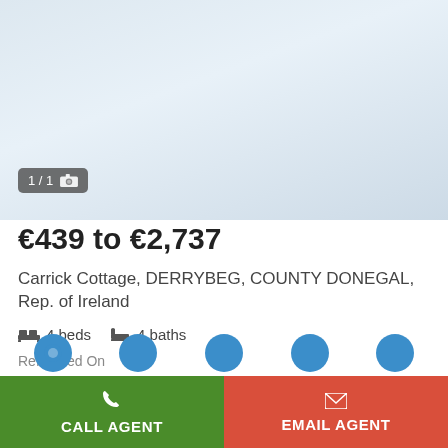[Figure (photo): Property listing photo area with light blue/grey gradient background, showing a partial outdoor or interior scene]
1 / 1 [camera icon]
€439 to €2,737
Carrick Cottage, DERRYBEG, COUNTY DONEGAL, Rep. of Ireland
4 beds  4 baths
Refreshed On
Learn more about Cashback Plus with BOI
CALL AGENT   EMAIL AGENT